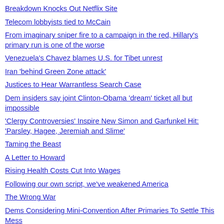Breakdown Knocks Out Netflix Site
Telecom lobbyists tied to McCain
From imaginary sniper fire to a campaign in the red, Hillary's primary run is one of the worse
Venezuela's Chavez blames U.S. for Tibet unrest
Iran 'behind Green Zone attack'
Justices to Hear Warrantless Search Case
Dem insiders say joint Clinton-Obama 'dream' ticket all but impossible
'Clergy Controversies' Inspire New Simon and Garfunkel Hit: 'Parsley, Hagee, Jeremiah and Slime'
Taming the Beast
A Letter to Howard
Rising Health Costs Cut Into Wages
Following our own script, we've weakened America
The Wrong War
Dems Considering Mini-Convention After Primaries To Settle This Mess
NYT editorial: National Parks in Peril